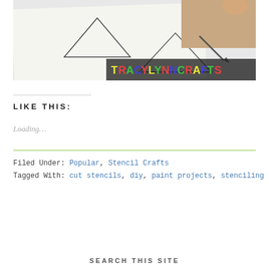[Figure (photo): Photo of a hand using a craft knife to cut stencils on paper, with triangle shapes drawn, and TracyLynnCrafts logo in colorful letters at the bottom right.]
LIKE THIS:
Loading...
Filed Under: Popular, Stencil Crafts
Tagged With: cut stencils, diy, paint projects, stenciling
SEARCH THIS SITE